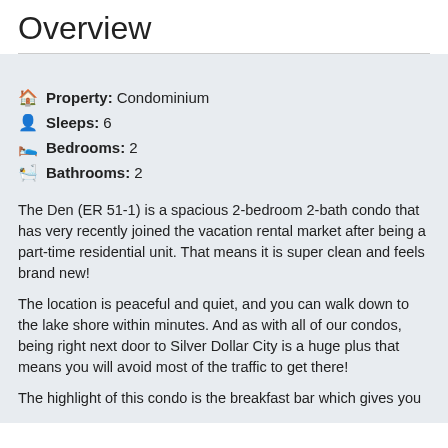Overview
Property: Condominium
Sleeps: 6
Bedrooms: 2
Bathrooms: 2
The Den (ER 51-1) is a spacious 2-bedroom 2-bath condo that has very recently joined the vacation rental market after being a part-time residential unit. That means it is super clean and feels brand new!
The location is peaceful and quiet, and you can walk down to the lake shore within minutes. And as with all of our condos, being right next door to Silver Dollar City is a huge plus that means you will avoid most of the traffic to get there!
The highlight of this condo is the breakfast bar which gives you